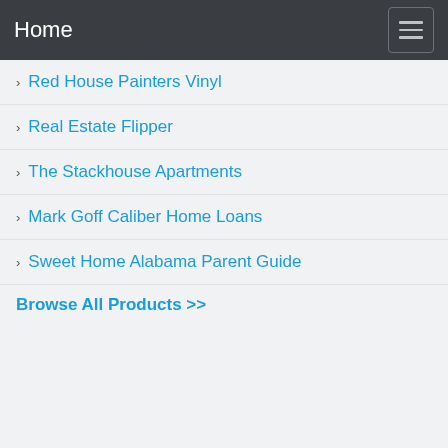Home
Red House Painters Vinyl
Real Estate Flipper
The Stackhouse Apartments
Mark Goff Caliber Home Loans
Sweet Home Alabama Parent Guide
Browse All Products >>